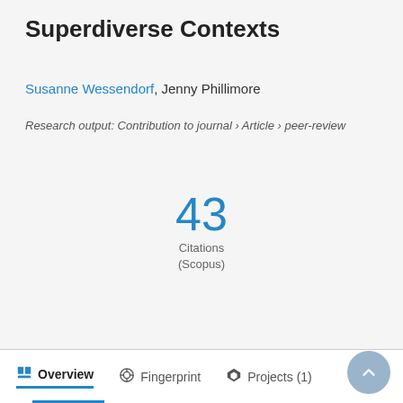Superdiverse Contexts
Susanne Wessendorf, Jenny Phillimore
Research output: Contribution to journal › Article › peer-review
43
Citations
(Scopus)
Overview   Fingerprint   Projects (1)